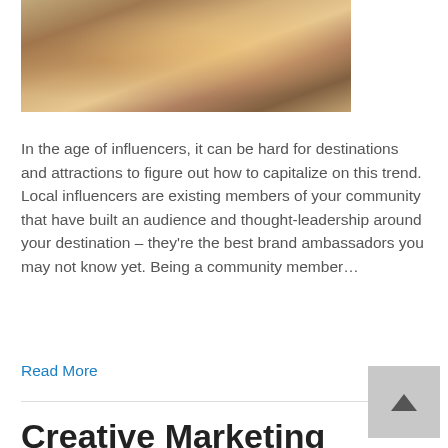[Figure (photo): Photo of hands holding a plate with food (sandwiches/burgers), viewed from above on a table]
In the age of influencers, it can be hard for destinations and attractions to figure out how to capitalize on this trend. Local influencers are existing members of your community that have built an audience and thought-leadership around your destination – they're the best brand ambassadors you may not know yet. Being a community member…
Read More
Creative Marketing Using Influencers with Rachel Hill